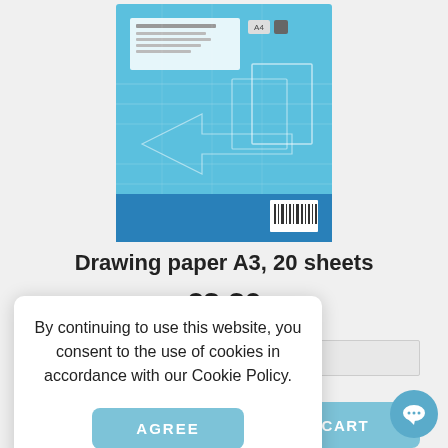[Figure (photo): Product image of Drawing paper A3 pad, blue cover with geometric line drawings and technical blueprint design, barcode visible on bottom right]
Drawing paper A3, 20 sheets
€3.20
By continuing to use this website, you consent to the use of cookies in accordance with our Cookie Policy.
AGREE
O CART